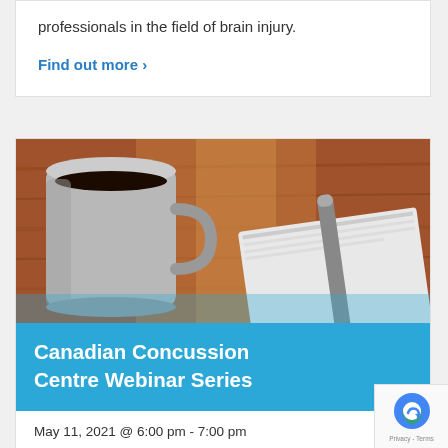professionals in the field of brain injury.
Find out more ›
[Figure (photo): Photo of a coffee mug and a rolled-up magazine or newspaper on a wooden table, overlaid with a blue banner reading 'Canadian Concussion Centre Webinar Series']
May 11, 2021 @ 6:00 pm - 7:00 pm
Recurring Event (See all)